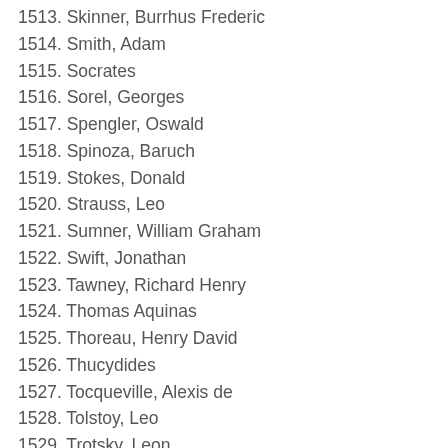1513. Skinner, Burrhus Frederic
1514. Smith, Adam
1515. Socrates
1516. Sorel, Georges
1517. Spengler, Oswald
1518. Spinoza, Baruch
1519. Stokes, Donald
1520. Strauss, Leo
1521. Sumner, William Graham
1522. Swift, Jonathan
1523. Tawney, Richard Henry
1524. Thomas Aquinas
1525. Thoreau, Henry David
1526. Thucydides
1527. Tocqueville, Alexis de
1528. Tolstoy, Leo
1529. Trotsky, Leon
1530. Unamuno, Miguel de
1531. Uno Kozo